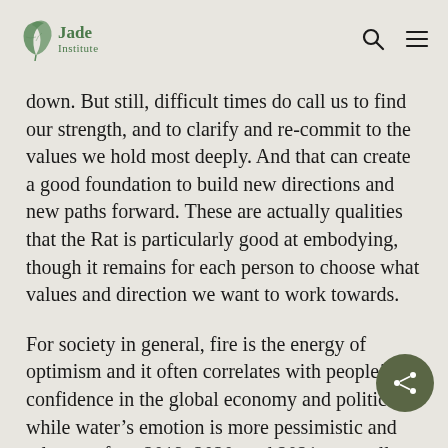Jade Institute
down.  But still, difficult times do call us to find our strength, and to clarify and re-commit to the values we hold most deeply.  And that can create a good foundation to build new directions and new paths forward.  These are actually qualities that the Rat is particularly good at embodying, though it remains for each person to choose what values and direction we want to work towards.
For society in general, fire is the energy of optimism and it often correlates with people's confidence in the global economy and politics, while water's emotion is more pessimistic and relates to fear.  2019, 2020, and 2021 years all belong to the Water element, and it can be seen how confidence…